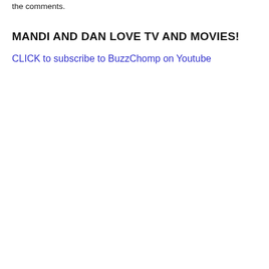the comments.
MANDI AND DAN LOVE TV AND MOVIES!
CLICK to subscribe to BuzzChomp on Youtube